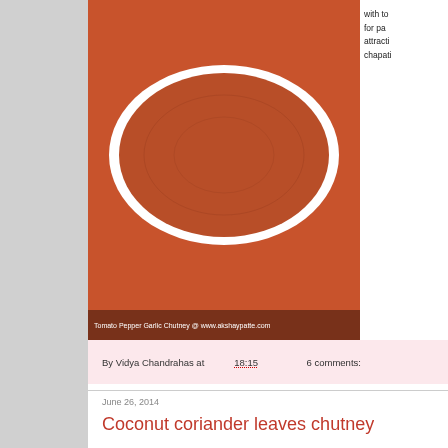[Figure (photo): Tomato Pepper Garlic Chutney in a white bowl on orange background, with watermark text at bottom: Tomato Pepper Garlic Chutney @ www.akshaypatte.com]
with to
for pa
attracti
chapati
By Vidya Chandrahas at 18:15    6 comments:
June 26, 2014
Coconut coriander leaves chutney
[Figure (photo): Coconut coriander leaves chutney in a round plastic container with two leaves on top, on a dark maroon background]
Coconu
posting
idli, utta
and tas
this it
fabulo